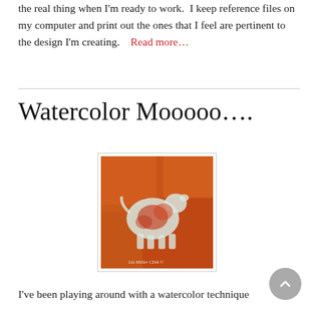the real thing when I'm ready to work.  I keep reference files on my computer and print out the ones that I feel are pertinent to the design I'm creating.    Read more…
Watercolor Mooooo….
[Figure (illustration): Watercolor painting of a cow/animal silhouette in orange, red and white tones against an orange-red background. Text at bottom reads 'Liz Miller CDA ©'.]
I've been playing around with a watercolor technique